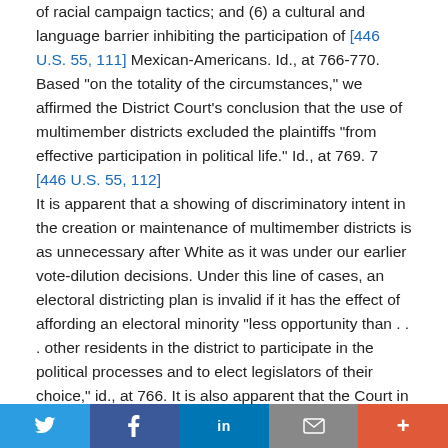of racial campaign tactics; and (6) a cultural and language barrier inhibiting the participation of [446 U.S. 55, 111] Mexican-Americans. Id., at 766-770. Based "on the totality of the circumstances," we affirmed the District Court's conclusion that the use of multimember districts excluded the plaintiffs "from effective participation in political life." Id., at 769. 7   [446 U.S. 55, 112] It is apparent that a showing of discriminatory intent in the creation or maintenance of multimember districts is as unnecessary after White as it was under our earlier vote-dilution decisions. Under this line of cases, an electoral districting plan is invalid if it has the effect of affording an electoral minority "less opportunity than . . . other residents in the district to participate in the political processes and to elect legislators of their choice," id., at 766. It is also apparent that the Court in White considered equal access to the political process as meaning more than merely allowing the
Twitter | Facebook | LinkedIn | Email | More